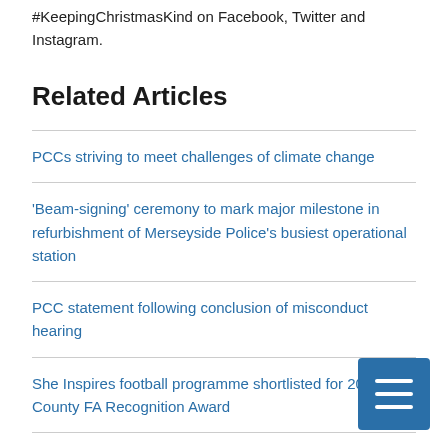#KeepingChristmasKind on Facebook, Twitter and Instagram.
Related Articles
PCCs striving to meet challenges of climate change
'Beam-signing' ceremony to mark major milestone in refurbishment of Merseyside Police's busiest operational station
PCC statement following conclusion of misconduct hearing
She Inspires football programme shortlisted for 2022 County FA Recognition Award